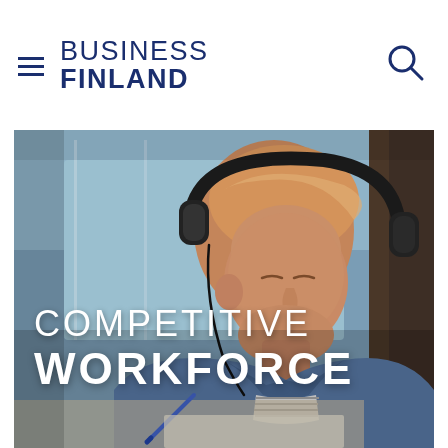BUSINESS FINLAND
[Figure (photo): Young man with red hair wearing headphones and a denim jacket, writing or studying at a desk. The image is a hero/banner photo for the Business Finland Competitive Workforce page.]
COMPETITIVE WORKFORCE